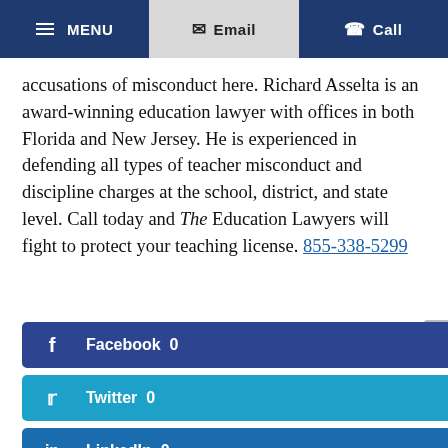MENU | Email | Call
accusations of misconduct here. Richard Asselta is an award-winning education lawyer with offices in both Florida and New Jersey. He is experienced in defending all types of teacher misconduct and discipline charges at the school, district, and state level. Call today and The Education Lawyers will fight to protect your teaching license. 855-338-5299
Facebook 0
Twitter 0
LinkedIn 0